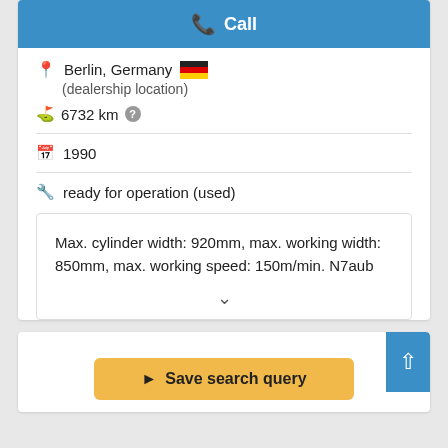Call
Berlin, Germany (dealership location)
6732 km
1990
ready for operation (used)
Max. cylinder width: 920mm, max. working width: 850mm, max. working speed: 150m/min. N7aub
Save search query